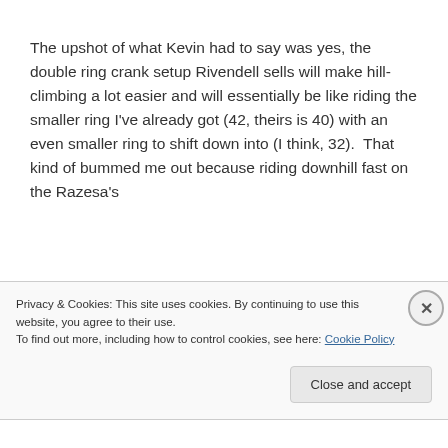The upshot of what Kevin had to say was yes, the double ring crank setup Rivendell sells will make hill-climbing a lot easier and will essentially be like riding the smaller ring I've already got (42, theirs is 40) with an even smaller ring to shift down into (I think, 32).  That kind of bummed me out because riding downhill fast on the Razesa's
Privacy & Cookies: This site uses cookies. By continuing to use this website, you agree to their use.
To find out more, including how to control cookies, see here: Cookie Policy
Close and accept